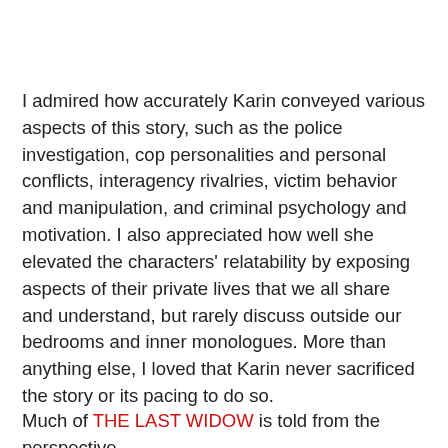I admired how accurately Karin conveyed various aspects of this story, such as the police investigation, cop personalities and personal conflicts, interagency rivalries, victim behavior and manipulation, and criminal psychology and motivation. I also appreciated how well she elevated the characters' relatability by exposing aspects of their private lives that we all share and understand, but rarely discuss outside our bedrooms and inner monologues. More than anything else, I loved that Karin never sacrificed the story or its pacing to do so.
Much of THE LAST WIDOW is told from the perspective